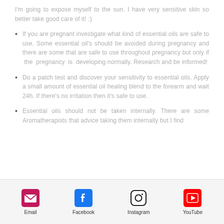I'm going to expose myself to the sun. I have very sensitive skin so better take good care of it! :)
If you are pregnant investigate what kind of essential oils are safe to use. Some essential oil's should be avoided during pregnancy and there are some that are safe to use throughout pregnancy but only if the pregnancy is developing normally. Research and be informed!
Do a patch test and discover your sensitivity to essential oils. Apply a small amount of essential oil healing blend to the forearm and wait 24h. If there's no irritation then it's safe to use.
Essential oils should not be taken internally. There are some Aromatherapists that advice taking them internally but I find
Email  Facebook  Instagram  YouTube